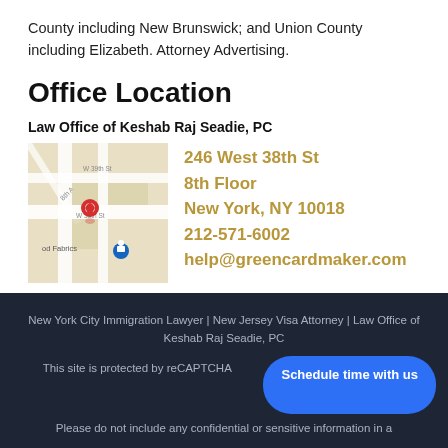County including New Brunswick; and Union County including Elizabeth. Attorney Advertising.
Office Location
Law Office of Keshab Raj Seadie, PC
[Figure (map): Google Maps screenshot showing location near W 38th St and 8th Ave in New York City, with a red location pin marker]
246 West 38th St
8th Floor
New York, NY 10018
212-571-6002
help@greencardmaker.com
New York City Immigration Lawyer | New Jersey Visa Attorney | Law Office of Keshab Raj Seadie, PC
This site is protected by reCAPTCHA and Terms
Please do not include any confidential or sensitive information in a